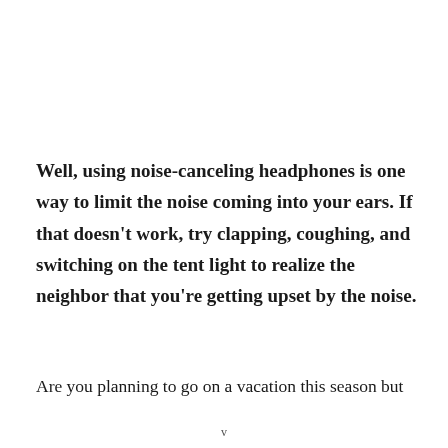Well, using noise-canceling headphones is one way to limit the noise coming into your ears. If that doesn't work, try clapping, coughing, and switching on the tent light to realize the neighbor that you're getting upset by the noise.
Are you planning to go on a vacation this season but
v